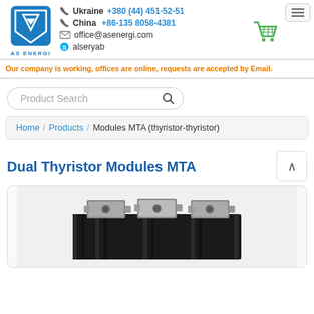Ukraine +380 (44) 451-52-51 | China +86-135 8058-4381 | office@asenergi.com | alseryab
Our company is working, offices are online, requests are accepted by Email.
Product Search
Home / Products / Modules MTA (thyristor-thyristor)
Dual Thyristor Modules MTA
[Figure (photo): Dual thyristor module MTA product photo showing a black rectangular electronic component with metal connectors on top]